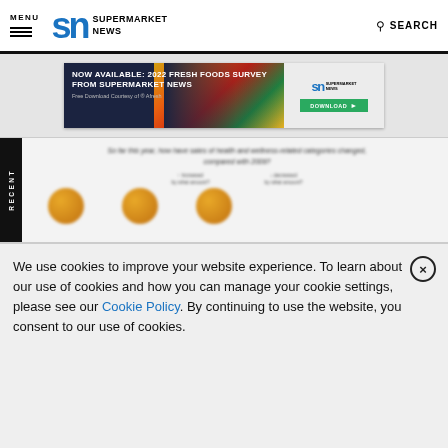MENU | SN SUPERMARKET NEWS | SEARCH
[Figure (screenshot): Advertisement banner: NOW AVAILABLE: 2022 FRESH FOODS SURVEY FROM SUPERMARKET NEWS. Free Download Courtesy of Afresh. SN Supermarket News logo. DOWNLOAD button.]
[Figure (screenshot): Blurred chart preview with RECENT tab on left. Question text: 'So far this year, how have sales of health and wellness-related categories changed, compared with 2009?' Shows partial pie charts with labels 'Increased by what amount?' and 'Decreased by what amount?']
We use cookies to improve your website experience. To learn about our use of cookies and how you can manage your cookie settings, please see our Cookie Policy. By continuing to use the website, you consent to our use of cookies.